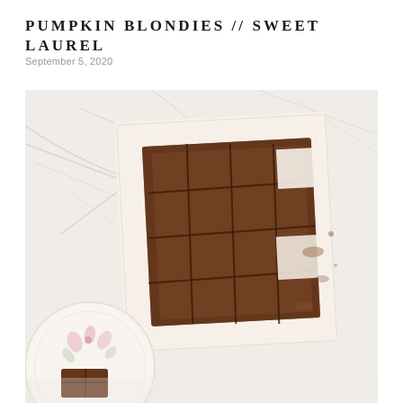PUMPKIN BLONDIES // SWEET LAUREL
September 5, 2020
[Figure (photo): Overhead photograph of pumpkin blondies cut into a grid of squares, placed on parchment paper on a white marble surface. A decorative floral plate with a brownie piece is partially visible in the lower left corner.]